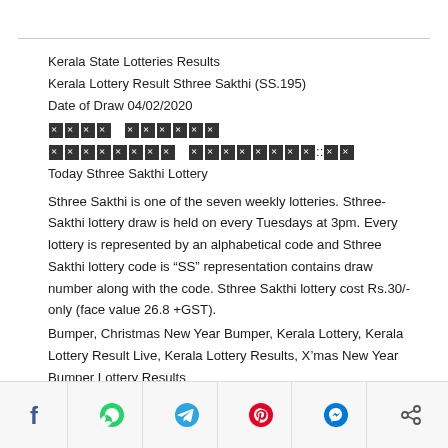Kerala State Lotteries Results
Kerala Lottery Result Sthree Sakthi (SS.195)
Date of Draw 04/02/2020
[REDACTED] [REDACTED]
[REDACTED] [REDACTED]::[REDACTED]
Today Sthree Sakthi Lottery
Sthree Sakthi is one of the seven weekly lotteries. Sthree-Sakthi lottery draw is held on every Tuesdays at 3pm. Every lottery is represented by an alphabetical code and Sthree Sakthi lottery code is “SS” representation contains draw number along with the code. Sthree Sakthi lottery cost Rs.30/- only (face value 26.8 +GST).
Bumper, Christmas New Year Bumper, Kerala Lottery, Kerala Lottery Result Live, Kerala Lottery Results, X’mas New Year Bumper Lottery Results
Social share bar: Facebook, WhatsApp, Telegram, Pinterest, Messenger, Share